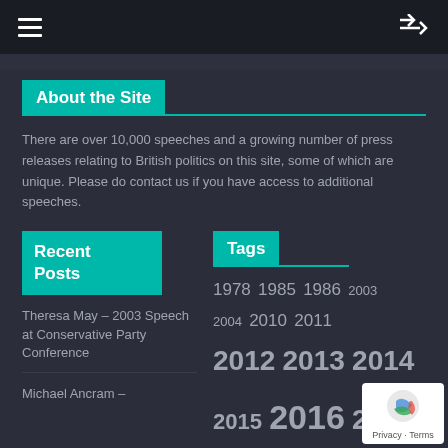≡  ⇌
About the Site
There are over 10,000 speeches and a growing number of press releases relating to British politics on this site, some of which are unique. Please do contact us if you have access to additional speeches.
Recent Posts
Tags
1978 1985 1986 2003 2004 2010 2011 2012 2013 2014 2015 2016 2017 2018 2019 2019 Press Release 2020 2021
Theresa May – 2003 Speech at Conservative Party Conference
Michael Ancram –